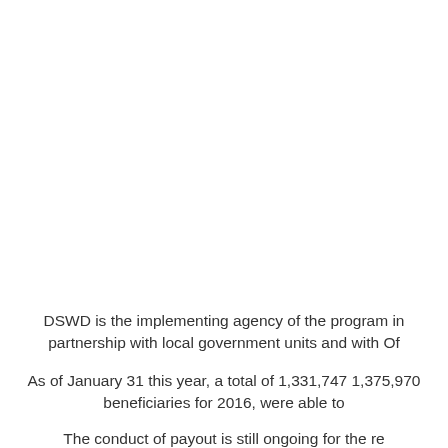DSWD is the implementing agency of the program in partnership with local government units and with Of
As of January 31 this year, a total of 1,331,747 1,375,970 beneficiaries for 2016, were able to
The conduct of payout is still ongoing for the re